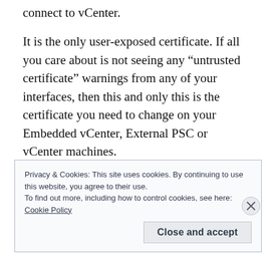connect to vCenter.
It is the only user-exposed certificate. If all you care about is not seeing any “untrusted certificate” warnings from any of your interfaces, then this and only this is the certificate you need to change on your Embedded vCenter, External PSC or vCenter machines.
Privacy & Cookies: This site uses cookies. By continuing to use this website, you agree to their use.
To find out more, including how to control cookies, see here:
Cookie Policy
Close and accept